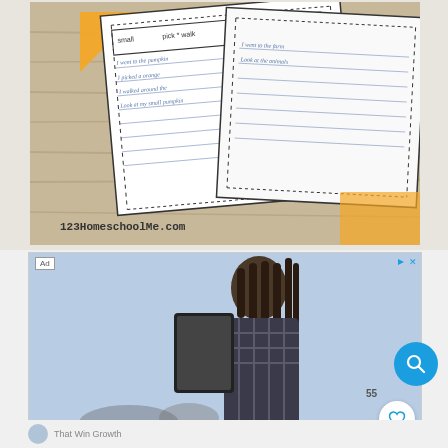[Figure (photo): Worksheet papers on a wooden surface showing writing exercises with lines, the text 'small', 'pick * walk', and handwritten sentences. Watermark '123HomeschoolMe.com' visible. Orange dotted border elements.]
[Figure (photo): Advertisement showing a young Black woman with box braids reading a tablet/clipboard, standing against a light blue sky background. Ad label in top-left corner. Heart icon and counter '55' visible. Blue search button in corner.]
Find new online customers
Put customers at the center of your marketing and meet them where they prefer to shop.